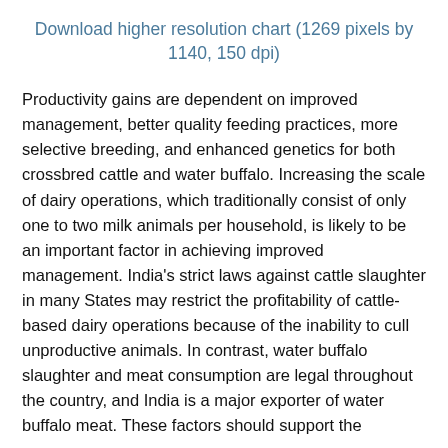Download higher resolution chart (1269 pixels by 1140, 150 dpi)
Productivity gains are dependent on improved management, better quality feeding practices, more selective breeding, and enhanced genetics for both crossbred cattle and water buffalo. Increasing the scale of dairy operations, which traditionally consist of only one to two milk animals per household, is likely to be an important factor in achieving improved management. India’s strict laws against cattle slaughter in many States may restrict the profitability of cattle-based dairy operations because of the inability to cull unproductive animals. In contrast, water buffalo slaughter and meat consumption are legal throughout the country, and India is a major exporter of water buffalo meat. These factors should support the